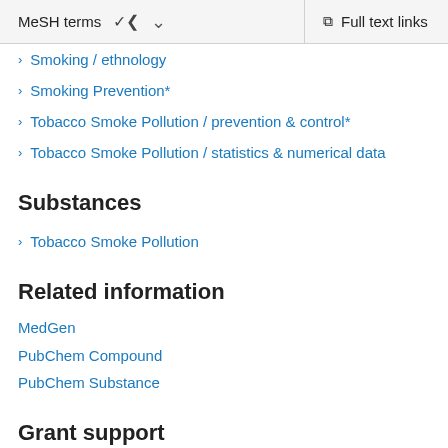MeSH terms ∨   Full text links
Smoking / ethnology
Smoking Prevention*
Tobacco Smoke Pollution / prevention & control*
Tobacco Smoke Pollution / statistics & numerical data
Substances
Tobacco Smoke Pollution
Related information
MedGen
PubChem Compound
PubChem Substance
Grant support